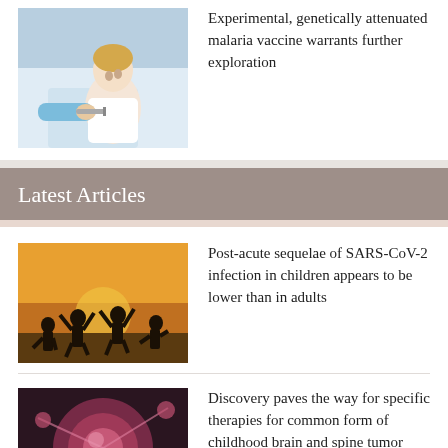[Figure (photo): A child receiving an injection/vaccination, with a medical professional's hand visible]
Experimental, genetically attenuated malaria vaccine warrants further exploration
Latest Articles
[Figure (photo): Silhouettes of children playing/jumping against a sunset background]
Post-acute sequelae of SARS-CoV-2 infection in children appears to be lower than in adults
[Figure (photo): Microscopic image of cancer cells, brain/spine tumor cells in pink]
Discovery paves the way for specific therapies for common form of childhood brain and spine tumor